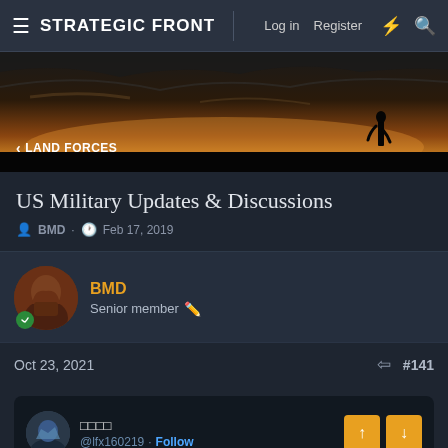STRATEGIC FRONT — Log in · Register
[Figure (photo): Dark sunset landscape with silhouette of a person, warm orange-brown sky with clouds]
< LAND FORCES
US Military Updates & Discussions
BMD · Feb 17, 2019
BMD
Senior member
Oct 23, 2021  #141
@lfx160219 · Follow